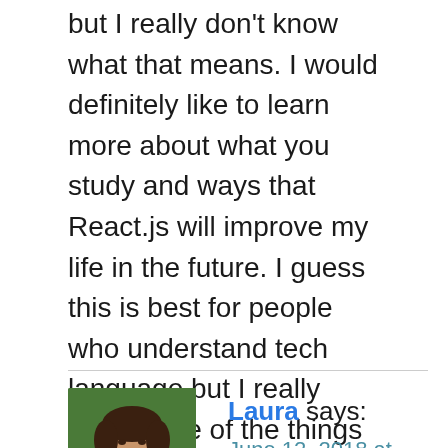but I really don't know what that means. I would definitely like to learn more about what you study and ways that React.js will improve my life in the future. I guess this is best for people who understand tech language but I really liked some of the things that you mentioned about this new application.
Reply
[Figure (photo): Profile photo of a woman with curly brown hair, smiling, wearing a black top, with a green background.]
Laura says:
June 12, 2018 at 12:45 am